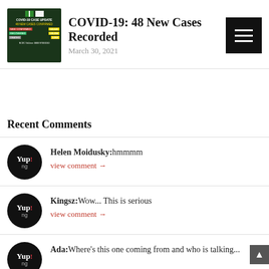[Figure (photo): COVID-19 case update graphic showing Nigerian flag colors with statistics including new confirmed cases, recoveries, and deaths]
COVID-19: 48 New Cases Recorded
March 30, 2021
Recent Comments
Helen Moidusky:hmmmm
view comment →
Kingsz:Wow... This is serious
view comment →
Ada:Where's this one coming from and who is talking...